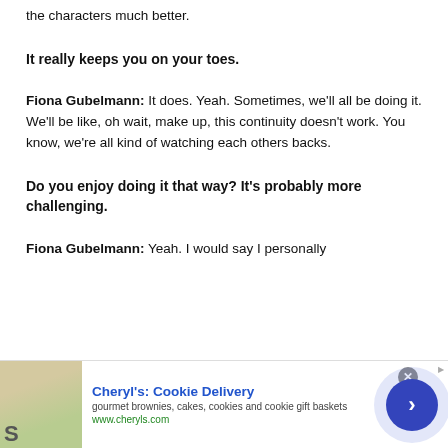the characters much better.
It really keeps you on your toes.
Fiona Gubelmann: It does. Yeah. Sometimes, we'll all be doing it. We'll be like, oh wait, make up, this continuity doesn't work. You know, we're all kind of watching each others backs.
Do you enjoy doing it that way? It's probably more challenging.
Fiona Gubelmann: Yeah. I would say I personally
[Figure (other): Advertisement banner for Cheryl's Cookie Delivery featuring a cookie image, bold blue title, description text 'gourmet brownies, cakes, cookies and cookie gift baskets', URL www.cheryls.com, close button, and blue arrow button.]